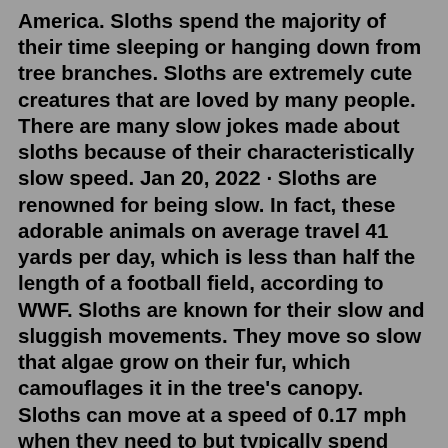America. Sloths spend the majority of their time sleeping or hanging down from tree branches. Sloths are extremely cute creatures that are loved by many people. There are many slow jokes made about sloths because of their characteristically slow speed. Jan 20, 2022 · Sloths are renowned for being slow. In fact, these adorable animals on average travel 41 yards per day, which is less than half the length of a football field, according to WWF. Sloths are known for their slow and sluggish movements. They move so slow that algae grow on their fur, which camouflages it in the tree's canopy. Sloths can move at a speed of 0.17 mph when they need to but typically spend most of their day hanging upside down and moving just a few inches each minute.Playa Danta in Las Catalinas. To get a true sense for how slow sloths are, there are a few good benchmarks in town. Starting from the Beach Club, the walk down to the beach at Limonada along Paseo del Mar is a total of about 1000 feet, depending on the route. There are plentiful trees